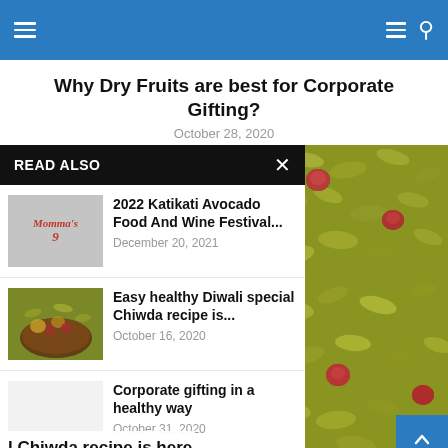Navigation header with hamburger menu and search icon
Why Dry Fruits are best for Corporate Gifting?
October 28, 2020
READ ALSO
2022 Katikati Avocado Food And Wine Festival... December 20, 2021
Easy healthy Diwali special Chiwda recipe is... October 16, 2020
Corporate gifting in a healthy way October 31, 2020
[Figure (photo): Close-up photo of dry fruits including flattened rice/poha and red peanuts/berries mix]
l Chiwda recipe is here